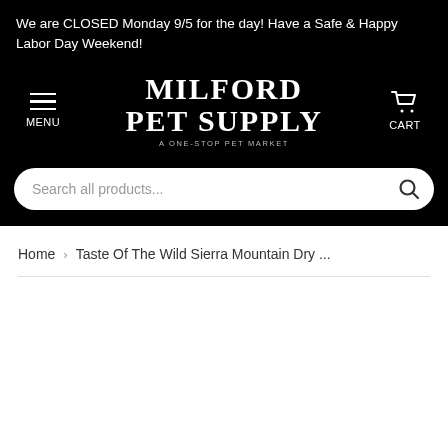We are CLOSED Monday 9/5 for the day! Have a Safe & Happy Labor Day Weekend!
[Figure (logo): Milford Pet Supply logo with hamburger menu on left, logo text in center, and cart icon on right on black background]
Search all products...
Home > Taste Of The Wild Sierra Mountain Dry ...